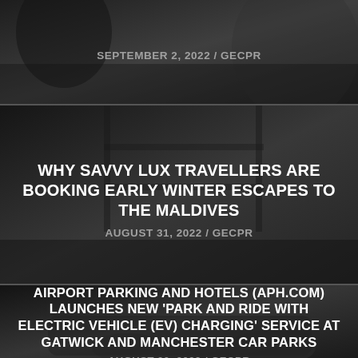SEPTEMBER 2, 2022 / GECPR
WHY SAVVY LUX TRAVELLERS ARE BOOKING EARLY WINTER ESCAPES TO THE MALDIVES
AUGUST 31, 2022 / GECPR
AIRPORT PARKING AND HOTELS (APH.COM) LAUNCHES NEW 'PARK AND RIDE WITH ELECTRIC VEHICLE (EV) CHARGING' SERVICE AT GATWICK AND MANCHESTER CAR PARKS
AUGUST 30, 2022 / GECPR